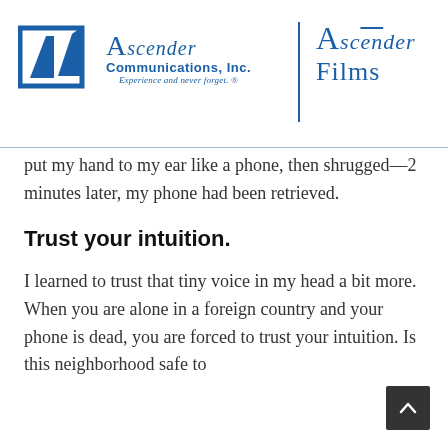[Figure (logo): Ascender Communications Inc. logo with geometric icon and tagline 'Experience and never forget.' alongside Ascender Films logo, separated by a vertical blue line]
put my hand to my ear like a phone, then shrugged—2 minutes later, my phone had been retrieved.
Trust your intuition.
I learned to trust that tiny voice in my head a bit more. When you are alone in a foreign country and your phone is dead, you are forced to trust your intuition. Is this neighborhood safe to